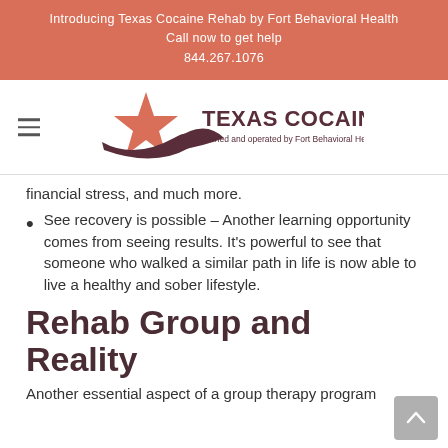Introducing Texas Cocaine Rehab by Fort Behavioral Health
Call now to get help
844.267.1076
[Figure (logo): Texas Cocaine Rehab logo with star graphic and tagline 'Owned and operated by Fort Behavioral Health.']
financial stress, and much more.
See recovery is possible – Another learning opportunity comes from seeing results. It's powerful to see that someone who walked a similar path in life is now able to live a healthy and sober lifestyle.
Rehab Group and Reality
Another essential aspect of a group therapy program